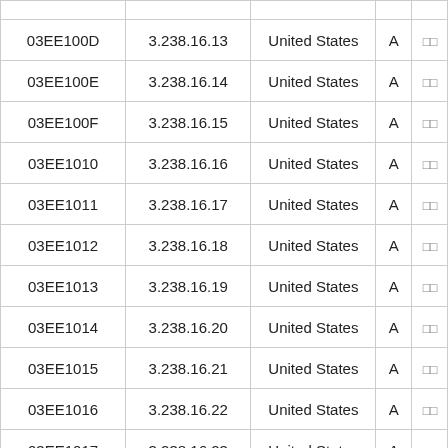|  |  |  |  |  |
| --- | --- | --- | --- | --- |
| 03EE100D | 3.238.16.13 | United States | A | □□ |
| 03EE100E | 3.238.16.14 | United States | A | □□ |
| 03EE100F | 3.238.16.15 | United States | A | □□ |
| 03EE1010 | 3.238.16.16 | United States | A | □□ |
| 03EE1011 | 3.238.16.17 | United States | A | □□ |
| 03EE1012 | 3.238.16.18 | United States | A | □□ |
| 03EE1013 | 3.238.16.19 | United States | A | □□ |
| 03EE1014 | 3.238.16.20 | United States | A | □□ |
| 03EE1015 | 3.238.16.21 | United States | A | □□ |
| 03EE1016 | 3.238.16.22 | United States | A | □□ |
| 03EE1017 | 3.238.16.23 | United States | A | □□ |